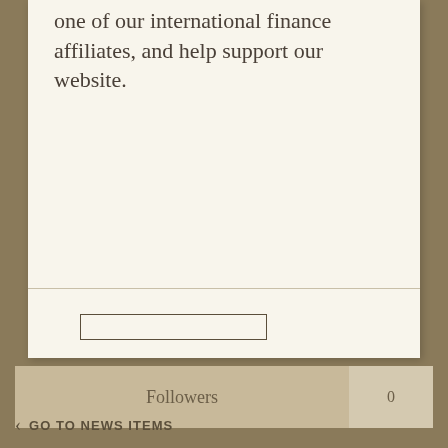one of our international finance affiliates, and help support our website.
Followers 0
GO TO NEWS ITEMS